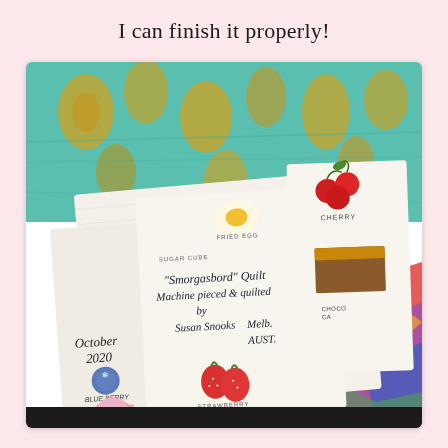I can finish it properly!
[Figure (photo): A photograph of a quilt label on fabric. The label reads: 'Smorgasbord' Quilt Machine pieced & quilted by Susan Snooks, Melb. AUST. October 2020. The label is made from novelty fabric with illustrations of food items including fried egg, sugar cube, cherry, chocolate cake, blueberry, and strawberry. The quilt is placed on top of colorful fabric with a teal and gold floral pattern visible in the background.]